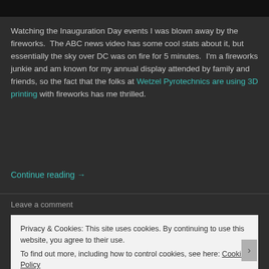[Figure (photo): Dark image strip at the top of the page, appears to be a night sky or fireworks photo]
Watching the Inauguration Day events I was blown away by the fireworks. The ABC news video has some cool stats about it, but essentially the sky over DC was on fire for 5 minutes. I'm a fireworks junkie and am known for my annual display attended by family and friends, so the fact that the folks at Wetzel Pyrotechnics are using 3D printing with fireworks has me thrilled.
Continue reading →
Leave a comment
Privacy & Cookies: This site uses cookies. By continuing to use this website, you agree to their use.
To find out more, including how to control cookies, see here: Cookie Policy
Close and accept